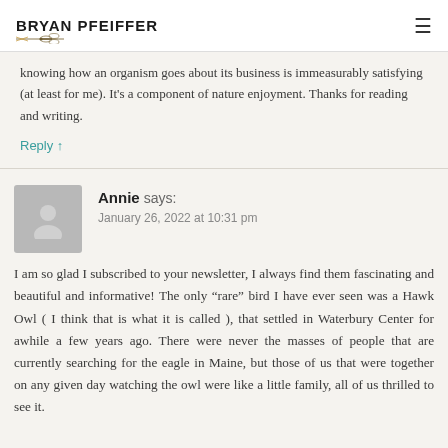BRYAN PFEIFFER
knowing how an organism goes about its business is immeasurably satisfying (at least for me). It's a component of nature enjoyment. Thanks for reading and writing.
Reply ↑
Annie says:
January 26, 2022 at 10:31 pm
I am so glad I subscribed to your newsletter, I always find them fascinating and beautiful and informative! The only "rare" bird I have ever seen was a Hawk Owl ( I think that is what it is called ), that settled in Waterbury Center for awhile a few years ago. There were never the masses of people that are currently searching for the eagle in Maine, but those of us that were together on any given day watching the owl were like a little family, all of us thrilled to see it.